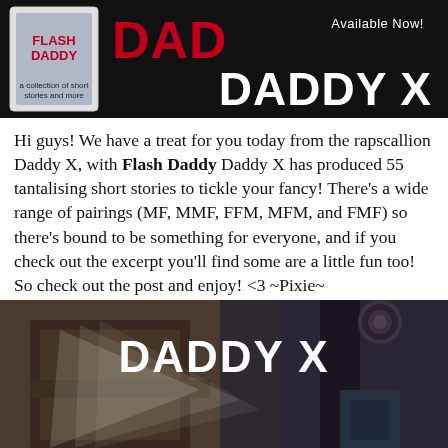[Figure (illustration): Dark banner advertisement for 'Daddy X' book. Shows a book cover image on the left with 'Flash Daddy' text, large red 'DAD' text in center, 'Available Now!' in white top right, and large white bold 'DADDY X' text at bottom right on black background.]
Hi guys! We have a treat for you today from the rapscallion Daddy X, with Flash Daddy Daddy X has produced 55 tantalising short stories to tickle your fancy! There's a wide range of pairings (MF, MMF, FFM, MFM, and FMF) so there's bound to be something for everyone, and if you check out the excerpt you'll find some are a little fun too! So check out the post and enjoy! <3 ~Pixie~
[Figure (illustration): Illustrated cartoon-style image with dark tones showing 'DADDY X' in large bold white text, with comic-book style light ray effects against a dark brown/grey background with architectural elements.]